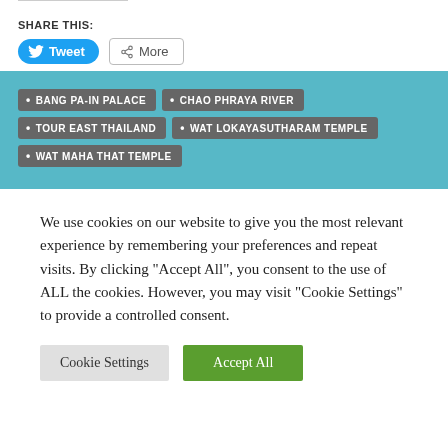SHARE THIS:
[Figure (other): Tweet button (blue pill shape with Twitter bird icon) and More button (with share icon)]
BANG PA-IN PALACE
CHAO PHRAYA RIVER
TOUR EAST THAILAND
WAT LOKAYASUTHARAM TEMPLE
WAT MAHA THAT TEMPLE
We use cookies on our website to give you the most relevant experience by remembering your preferences and repeat visits. By clicking "Accept All", you consent to the use of ALL the cookies. However, you may visit "Cookie Settings" to provide a controlled consent.
Cookie Settings | Accept All